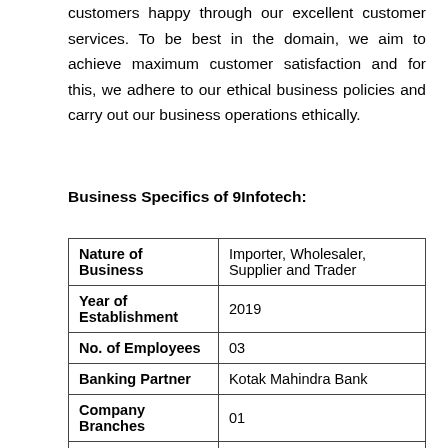customers happy through our excellent customer services. To be best in the domain, we aim to achieve maximum customer satisfaction and for this, we adhere to our ethical business policies and carry out our business operations ethically.
Business Specifics of 9Infotech:
| Nature of Business | Importer, Wholesaler, Supplier and Trader |
| Year of Establishment | 2019 |
| No. of Employees | 03 |
| Banking Partner | Kotak Mahindra Bank |
| Company Branches | 01 |
| Warehousing Facility | Yes (01) |
| Annual Turnover | INR 10 Lakhs |
| Brand Names | HP and Intel |
| GST No. | 24ADNPR5893G1ZY |